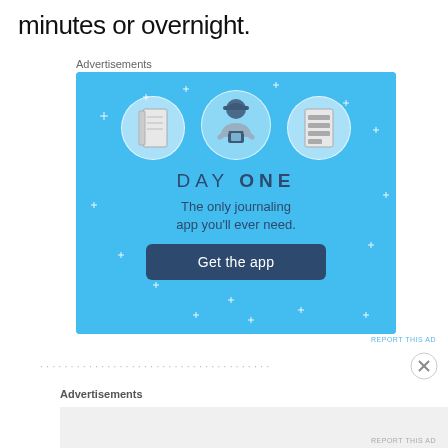minutes or overnight.
Advertisements
[Figure (illustration): Day One journaling app advertisement on a blue background. Shows three icons (notebook, person with phone, checklist), text 'DAY ONE - The only journaling app you'll ever need.' and a 'Get the app' button.]
REPORT THIS AD
...
Advertisements